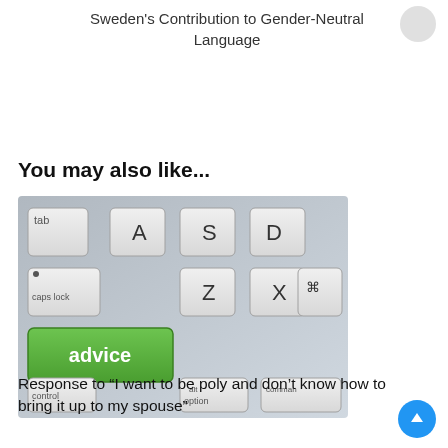Sweden's Contribution to Gender-Neutral Language
You may also like...
[Figure (photo): Close-up photo of a Mac keyboard with a green key labeled 'advice' in place of a standard key, surrounded by other keys including caps lock, tab, A, S, Z, X, control, option, command keys.]
Response to “I want to be poly and don’t know how to bring it up to my spouse”